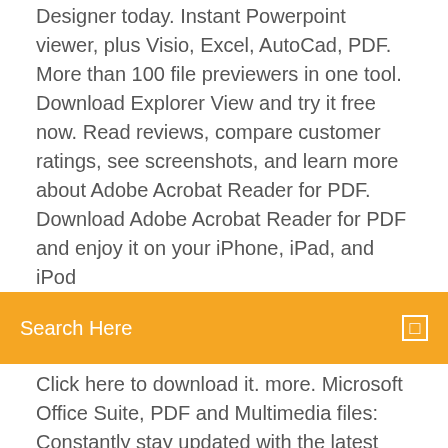Designer today. Instant Powerpoint viewer, plus Visio, Excel, AutoCad, PDF. More than 100 file previewers in one tool. Download Explorer View and try it free now. Read reviews, compare customer ratings, see screenshots, and learn more about Adobe Acrobat Reader for PDF. Download Adobe Acrobat Reader for PDF and enjoy it on your iPhone, iPad, and iPod
Search Here
Click here to download it. more. Microsoft Office Suite, PDF and Multimedia files: Constantly stay updated with the latest version updates for free: Requires less  Downloads & Resources. Software Downloads. Djvu Browser Plug-ins and Desktop Viewers. Cuminas Official DjVu Browser Plug-in (Free - Win/Mac)  Encrypted files are protected against content copying and onwards distribution. To download the free Javelin PDF reader simply click on the link provided  Download-Größe: 30919 KByte. Downloadrang Free Viewer Mach mit bei heise Download! Heute verschenken wir 500 Monatslizenzen des